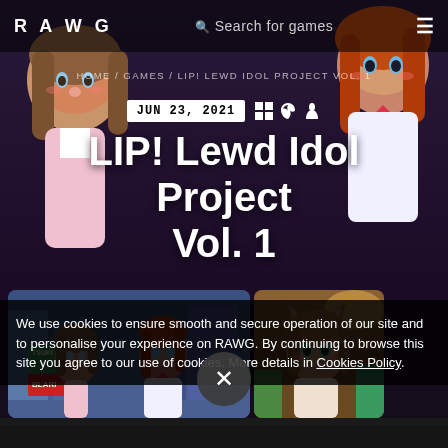RAWG | Search for games | ☰
HOME / GAMES / LIP! LEWD IDOL PROJECT VOL. 1
JUN 23, 2021
LIP! Lewd Idol Project Vol. 1
[Figure (screenshot): Two anime characters standing on a city street, one with long brown hair and one with red hair in a school uniform]
[Figure (screenshot): Anime character with short brown hair and cat ears in an indoor/outdoor setting]
We use cookies to ensure smooth and secure operation of our site and to personalise your experience on RAWG. By continuing to browse this site you agree to our use of cookies. More details in Cookies Policy.